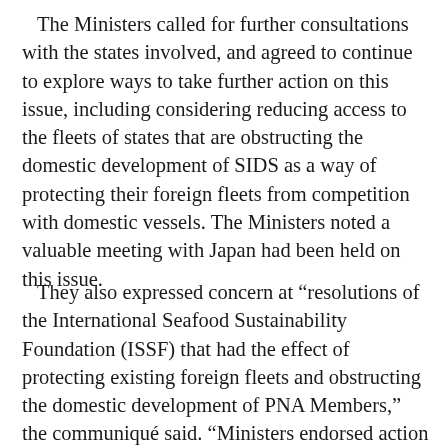The Ministers called for further consultations with the states involved, and agreed to continue to explore ways to take further action on this issue, including considering reducing access to the fleets of states that are obstructing the domestic development of SIDS as a way of protecting their foreign fleets from competition with domestic vessels. The Ministers noted a valuable meeting with Japan had been held on this issue.
They also expressed concern at “resolutions of the International Seafood Sustainability Foundation (ISSF) that had the effect of protecting existing foreign fleets and obstructing the domestic development of PNA Members,” the communiqué said. “Ministers endorsed action being taken against ISSF members if the issue is not resolved including (subject to further consultation among the Parties):